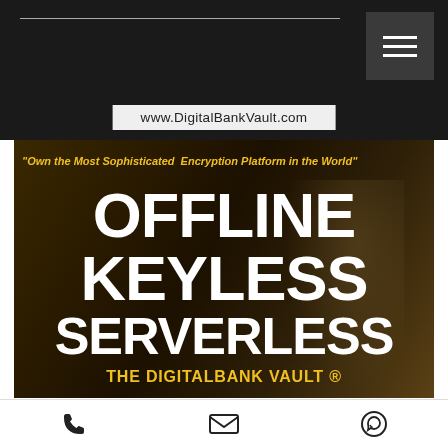www.DigitalBankVault.com
[Figure (photo): Dark background hero banner image with a person in a suit presenting on stage, overlaid with large white bold text reading OFFLINE KEYLESS SERVERLESS and yellow italic quote and brand name]
"Own the Most Sophisticated  Encryption Platform in the World"
OFFLINE
KEYLESS
SERVERLESS
THE DIGITALBANK VAULT ®
Phone | Email | WhatsApp